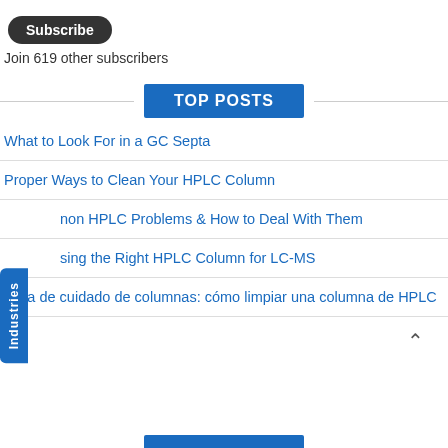Subscribe
Join 619 other subscribers
TOP POSTS
What to Look For in a GC Septa
Proper Ways to Clean Your HPLC Column
mon HPLC Problems & How to Deal With Them
sing the Right HPLC Column for LC-MS
Guía de cuidado de columnas: cómo limpiar una columna de HPLC